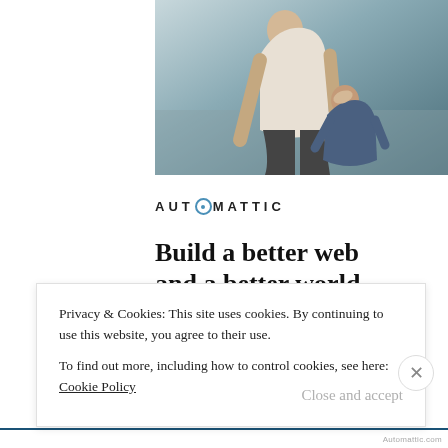[Figure (photo): Photo of a person leaning over a child, outdoors setting with light background]
[Figure (logo): Automattic logo in bold spaced letters with a compass/circle O]
Build a better web and a better world.
[Figure (illustration): Circular photo of a bearded man in a thoughtful pose]
Privacy & Cookies: This site uses cookies. By continuing to use this website, you agree to their use.
To find out more, including how to control cookies, see here: Cookie Policy
Close and accept